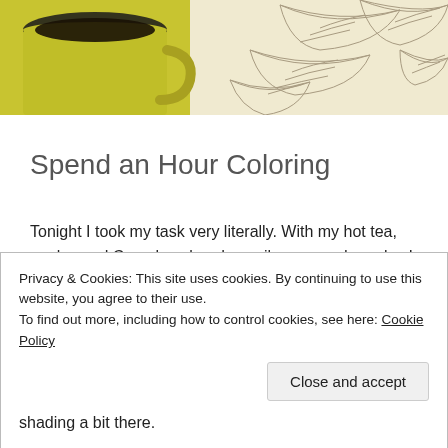[Figure (photo): Top portion of a photo showing a yellow/green mug with dark liquid (tea/coffee) at left, and a cream-colored background with hand-drawn leaf/foliage line art on the right.]
Spend an Hour Coloring
Tonight I took my task very literally. With my hot tea, apples and Crayola colored pencils arranged nearby, I glanced at the clock and began a countdown. I didn't feel hurried. I knew I would not complete the coloring page in 60 minutes. That wasn't the point of the activity.
Privacy & Cookies: This site uses cookies. By continuing to use this website, you agree to their use.
To find out more, including how to control cookies, see here: Cookie Policy
Close and accept
shading a bit there.